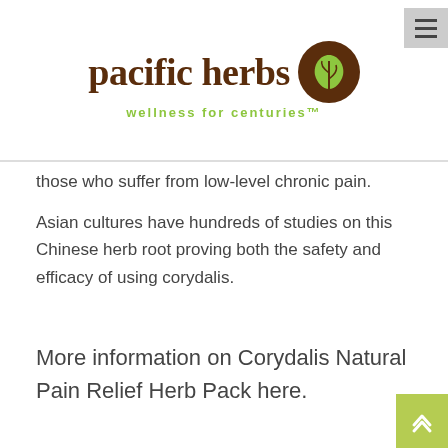[Figure (logo): Pacific Herbs logo with brown circle containing a leaf icon, brown serif text 'pacific herbs', and green tagline 'wellness for centuries']
those who suffer from low-level chronic pain.
Asian cultures have hundreds of studies on this Chinese herb root proving both the safety and efficacy of using corydalis.
More information on Corydalis Natural Pain Relief Herb Pack here.